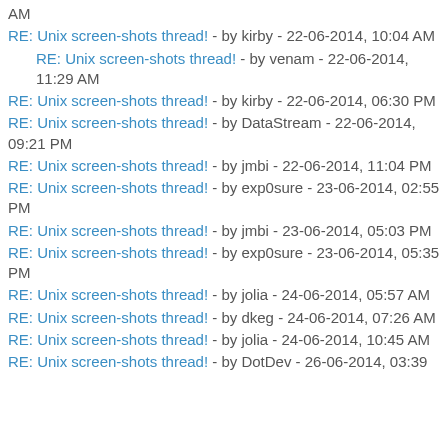AM
RE: Unix screen-shots thread! - by kirby - 22-06-2014, 10:04 AM
RE: Unix screen-shots thread! - by venam - 22-06-2014, 11:29 AM
RE: Unix screen-shots thread! - by kirby - 22-06-2014, 06:30 PM
RE: Unix screen-shots thread! - by DataStream - 22-06-2014, 09:21 PM
RE: Unix screen-shots thread! - by jmbi - 22-06-2014, 11:04 PM
RE: Unix screen-shots thread! - by exp0sure - 23-06-2014, 02:55 PM
RE: Unix screen-shots thread! - by jmbi - 23-06-2014, 05:03 PM
RE: Unix screen-shots thread! - by exp0sure - 23-06-2014, 05:35 PM
RE: Unix screen-shots thread! - by jolia - 24-06-2014, 05:57 AM
RE: Unix screen-shots thread! - by dkeg - 24-06-2014, 07:26 AM
RE: Unix screen-shots thread! - by jolia - 24-06-2014, 10:45 AM
RE: Unix screen-shots thread! - by DotDev - 26-06-2014, 03:39